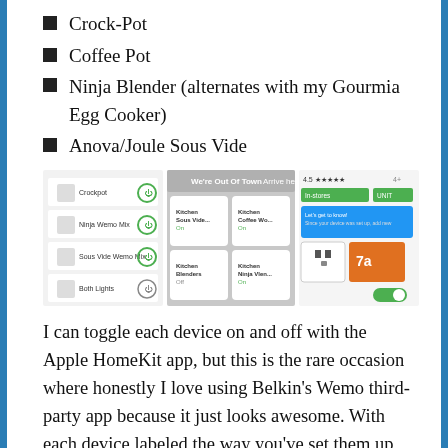Crock-Pot
Coffee Pot
Ninja Blender (alternates with my Gourmia Egg Cooker)
Anova/Joule Sous Vide
[Figure (screenshot): Three smartphone app screenshots showing smart plug controls: a Wemo app listing Crockpot, Ninja Wemo Mix, Sous Vide Wemo Mix, Both Lights; an Apple HomeKit grid with Kitchen Sous Vide, Kitchen Coffee Wo..., Kitchen Sparky Pro..., Kitchen Blenders, Kitchen Ninja Vlen..., Kitchen Night Light; and a third app screen with 4.5 star rating and a chat/device interface.]
I can toggle each device on and off with the Apple HomeKit app, but this is the rare occasion where honestly I love using Belkin’s Wemo third-party app because it just looks awesome. With each device labeled the way you’ve set them up in the app, with a nice image of what the outlet looks like. If the device